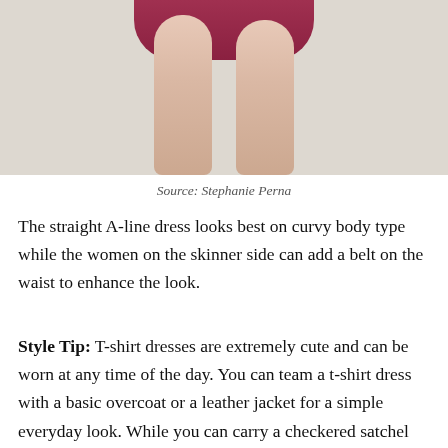[Figure (photo): Photo showing lower body of a woman wearing a dark red/maroon A-line dress, showing legs from approximately mid-thigh down, standing on a light gray surface.]
Source: Stephanie Perna
The straight A-line dress looks best on curvy body type while the women on the skinner side can add a belt on the waist to enhance the look.
Style Tip: T-shirt dresses are extremely cute and can be worn at any time of the day. You can team a t-shirt dress with a basic overcoat or a leather jacket for a simple everyday look. While you can carry a checkered satchel bag or a bucket bag to elevate the look. You can opt for white shoes and sunglasses if you are heading for lunch. It is advisable to keep your lip color a little on the lighter side and let your